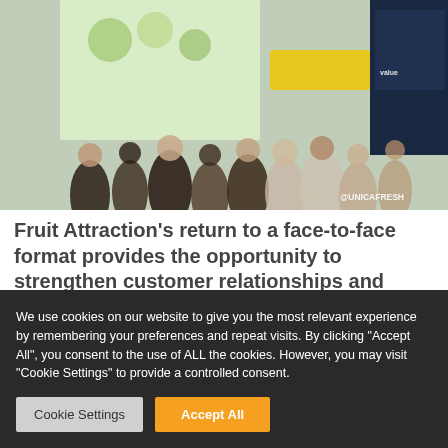[Figure (photo): Trade show / exhibition hall scene with crowds of people at booths. A green and white branded booth is visible with fruit/food imagery. Dark blue booth visible to the right. Watermark '@UNICAFRESH' in bottom right corner.]
Fruit Attraction's return to a face-to-face format provides the opportunity to strengthen customer relationships and intensify internationalisation. After a very complex year and a half, Fruit Attraction provides an
We use cookies on our website to give you the most relevant experience by remembering your preferences and repeat visits. By clicking "Accept All", you consent to the use of ALL the cookies. However, you may visit "Cookie Settings" to provide a controlled consent.